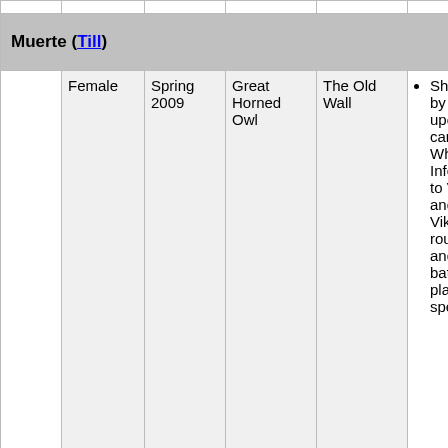|  | Female | Spring 2009 | Great Horned Owl | The Old Wall | Notes |
| --- | --- | --- | --- | --- | --- |
| Muerte (Till) |  |  |  |  |  |
|  | Female | Spring 2009 | Great Horned Owl | The Old Wall | She was owned by Kesho in Inferni, upon his death cared for from When Valkyrie Inferni, she gave to Viktor as a and she has been Viktor ever since rough around and has seen battles, and can play dumb to speak to her t... Viktor or Till... |